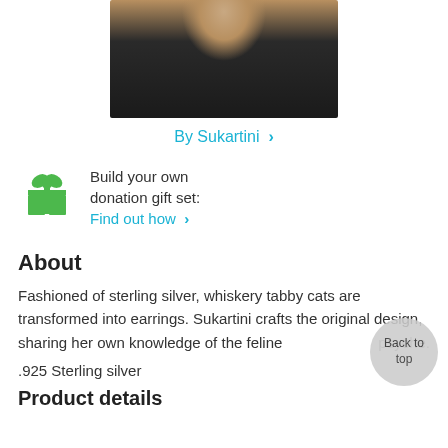[Figure (photo): Photo of a woman wearing a dark printed top and a necklace, cropped at the upper chest/neck area showing long dark hair]
By Sukartini ›
Build your own donation gift set: Find out how ›
About
Fashioned of sterling silver, whiskery tabby cats are transformed into earrings. Sukartini crafts the original design, sharing her own knowledge of the feline psyche.
.925 Sterling silver
Product details